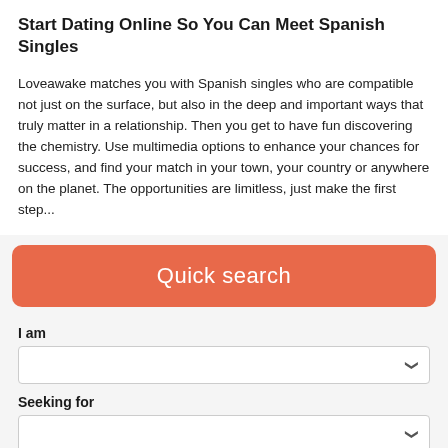Start Dating Online So You Can Meet Spanish Singles
Loveawake matches you with Spanish singles who are compatible not just on the surface, but also in the deep and important ways that truly matter in a relationship. Then you get to have fun discovering the chemistry. Use multimedia options to enhance your chances for success, and find your match in your town, your country or anywhere on the planet. The opportunities are limitless, just make the first step...
[Figure (other): Orange/salmon colored Quick search banner button]
I am
[Figure (other): Dropdown select box for 'I am' field]
Seeking for
[Figure (other): Dropdown select box for 'Seeking for' field]
Age
[Figure (other): Two input boxes for age range]